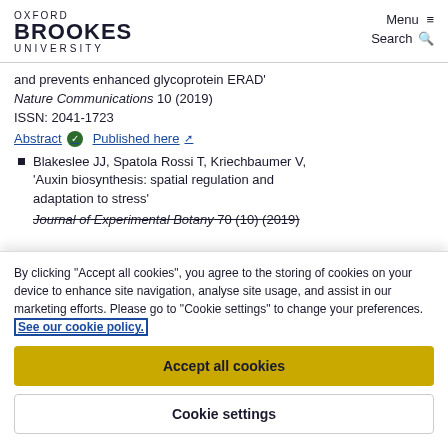OXFORD BROOKES UNIVERSITY | Menu ≡ | Search 🔍
and prevents enhanced glycoprotein ERAD' Nature Communications 10 (2019) ISSN: 2041-1723
Abstract ✅ Published here ↗
Blakeslee JJ, Spatola Rossi T, Kriechbaumer V, 'Auxin biosynthesis: spatial regulation and adaptation to stress'
Journal of Experimental Botany 70 (10) (2019)
By clicking "Accept all cookies", you agree to the storing of cookies on your device to enhance site navigation, analyse site usage, and assist in our marketing efforts. Please go to "Cookie settings" to change your preferences. See our cookie policy.
Accept all cookies
Cookie settings